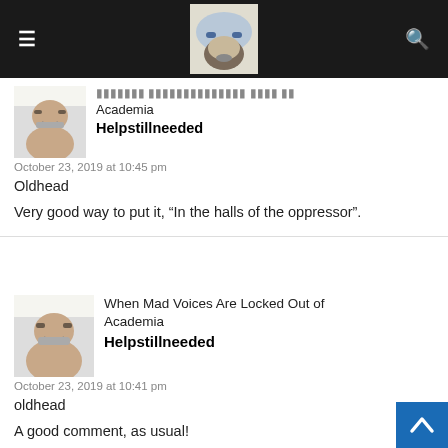[Navigation bar with hamburger menu, site logo, and search icon]
When Mad Voices Are Locked Out of Academia
Helpstillneeded
October 23, 2019 at 10:45 pm
Oldhead

Very good way to put it, "In the halls of the oppressor".
When Mad Voices Are Locked Out of Academia
Helpstillneeded
October 23, 2019 at 10:41 pm
oldhead

A good comment, as usual!